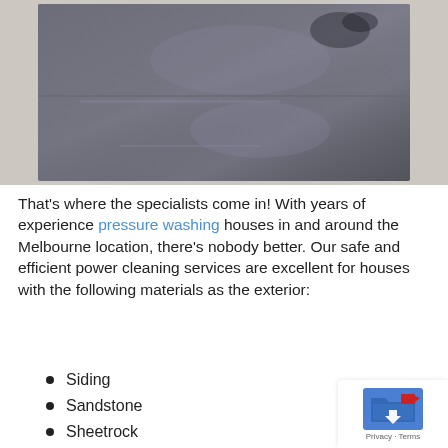[Figure (photo): A close-up photo of a surface being pressure washed, showing a dark wet tile or concrete slab against a lighter background. The surface appears partially cleaned with visible water marks.]
That's where the specialists come in! With years of experience pressure washing houses in and around the Melbourne location, there's nobody better. Our safe and efficient power cleaning services are excellent for houses with the following materials as the exterior:
Siding
Sandstone
Sheetrock